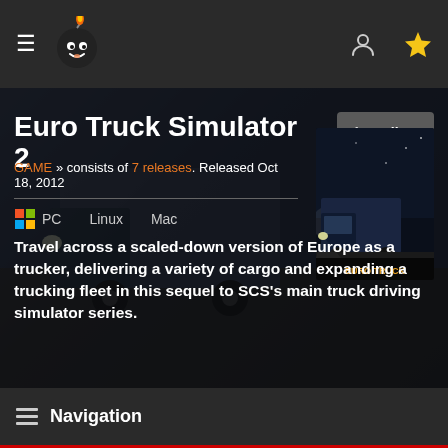Navigation header with hamburger menu, site logo, user icon, and star/favorites icon
Euro Truck Simulator 2
GAME » consists of 7 releases. Released Oct 18, 2012
[Figure (logo): Windows PC logo with colorful four-pane flag icon]
PC   Linux   Mac
[Figure (photo): Euro Truck Simulator 2 game cover art showing a truck at night]
Travel across a scaled-down version of Europe as a trucker, delivering a variety of cargo and expanding a trucking fleet in this sequel to SCS's main truck driving simulator series.
Navigation